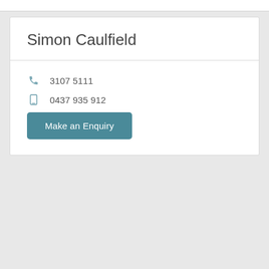Simon Caulfield
3107 5111
0437 935 912
Make an Enquiry